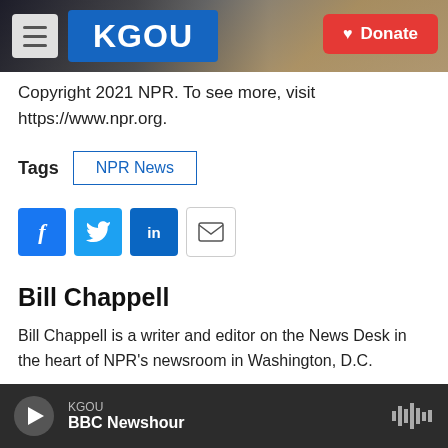[Figure (screenshot): KGOU radio station website header with hamburger menu, KGOU logo, city background image, and red Donate button]
Copyright 2021 NPR. To see more, visit https://www.npr.org.
Tags  NPR News
[Figure (infographic): Social share buttons: Facebook, Twitter, LinkedIn, Email]
Bill Chappell
Bill Chappell is a writer and editor on the News Desk in the heart of NPR's newsroom in Washington, D.C.
See stories by Bill Chappell
KGOU  BBC Newshour